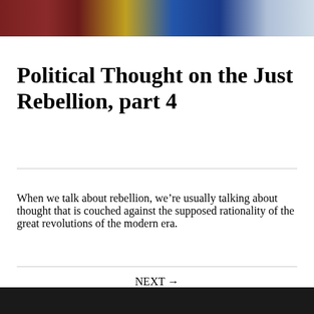[Figure (photo): A cropped photo strip showing a scene with red, blue, and yellow elements — appears to be people at a desk or table, partially visible.]
Political Thought on the Just Rebellion, part 4
When we talk about rebellion, we’re usually talking about thought that is couched against the supposed rationality of the great revolutions of the modern era.
NEXT →